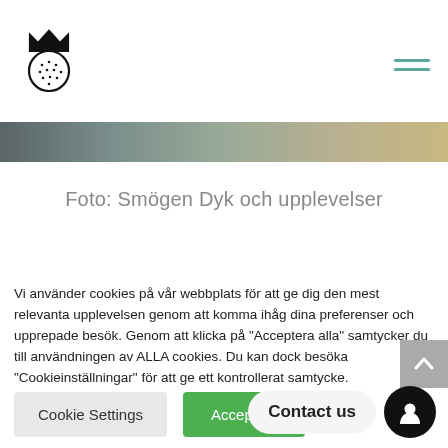[Figure (logo): Strawberry with crown logo (black outline)]
[Figure (photo): Partial photo strip showing underwater/nature scene]
Foto: Smögen Dyk och upplevelser
Vi använder cookies på vår webbplats för att ge dig den mest relevanta upplevelsen genom att komma ihåg dina preferenser och upprepade besök. Genom att klicka på "Acceptera alla" samtycker du till användningen av ALLA cookies. Du kan dock besöka "Cookieinställningar" för att ge ett kontrollerat samtycke.
Cookie Settings
Accept All
Contact us